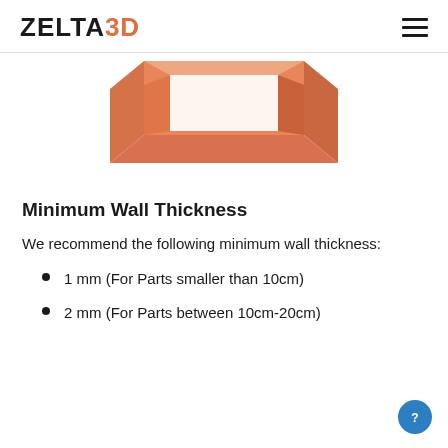ZELTA3D
[Figure (illustration): 3D rendered orange/salmon colored box-shaped object (hollow cube or shelf unit) viewed from a perspective angle on a white background, partially cropped at top.]
Minimum Wall Thickness
We recommend the following minimum wall thickness:
1 mm (For Parts smaller than 10cm)
2 mm (For Parts between 10cm-20cm)